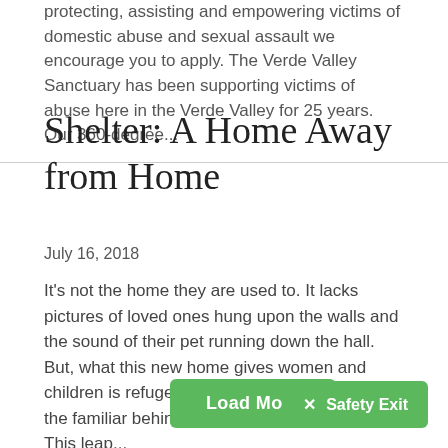protecting, assisting and empowering victims of domestic abuse and sexual assault we encourage you to apply. The Verde Valley Sanctuary has been supporting victims of abuse here in the Verde Valley for 25 years.  Our 360-degree...
Shelter: A Home Away from Home
July 16, 2018
It's not the home they are used to. It lacks pictures of loved ones hung upon the walls and the sound of their pet running down the hall. But, what this new home gives women and children is refuge, and that can make leaving the familiar behind for the unknown a bit easier. This leap...